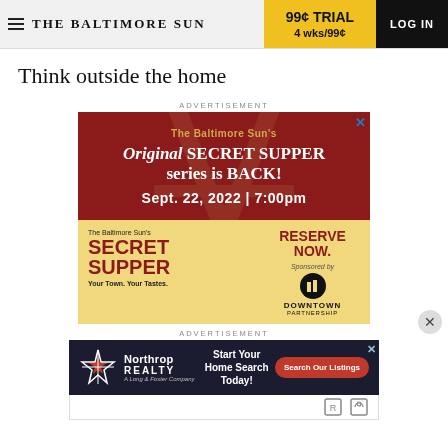THE BALTIMORE SUN | 99¢ TRIAL 4 wks/99¢ | LOG IN
Think outside the home
ADVERTISEMENT
[Figure (illustration): Baltimore Sun advertisement for Original Secret Supper series - Sept. 22, 2022 | 7:00pm. Red top section with italic 'Original SECRET SUPPER series is BACK!' and gold bottom section with 'SECRET SUPPER Your Town. Your Tastes. RESERVE NOW. Sponsored by Downtown Partnership.']
ADVERTISEMENT
[Figure (illustration): Northrop Realty advertisement: 'Start Your Home Search Today!' with a 'Search Our Listings' red button. A Long & Foster Company.]